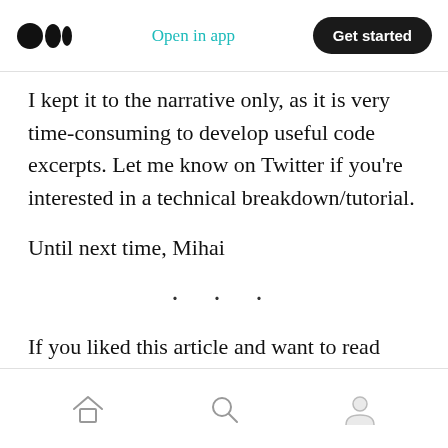Medium logo | Open in app | Get started
I kept it to the narrative only, as it is very time-consuming to develop useful code excerpts. Let me know on Twitter if you're interested in a technical breakdown/tutorial.
Until next time, Mihai
· · ·
If you liked this article and want to read more like it, please subscribe to my newsletter; I send one out every few weeks!
Home | Search | Profile